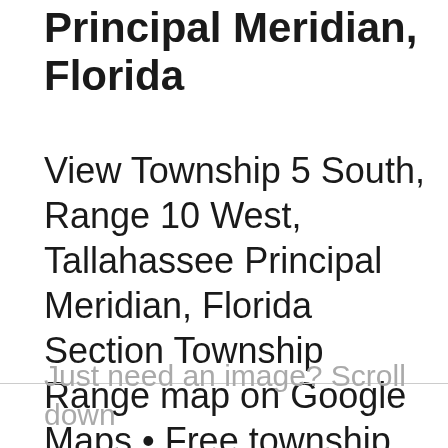Principal Meridian, Florida
View Township 5 South, Range 10 West, Tallahassee Principal Meridian, Florida Section Township Range map on Google Maps • Free township and range locator searches by address, place or reverse find by land parcel description.
Just need an image? Scroll down